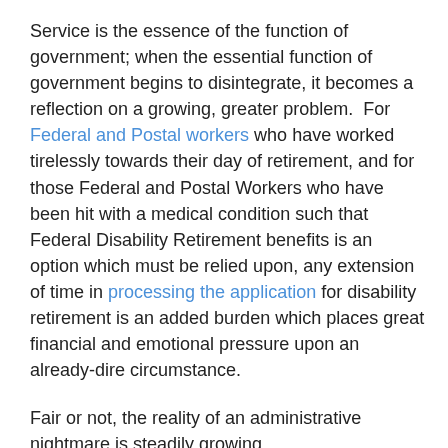Service is the essence of the function of government; when the essential function of government begins to disintegrate, it becomes a reflection on a growing, greater problem.  For Federal and Postal workers who have worked tirelessly towards their day of retirement, and for those Federal and Postal Workers who have been hit with a medical condition such that Federal Disability Retirement benefits is an option which must be relied upon, any extension of time in processing the application for disability retirement is an added burden which places great financial and emotional pressure upon an already-dire circumstance.
Fair or not, the reality of an administrative nightmare is steadily growing.
The good news is that there is such an option as Federal